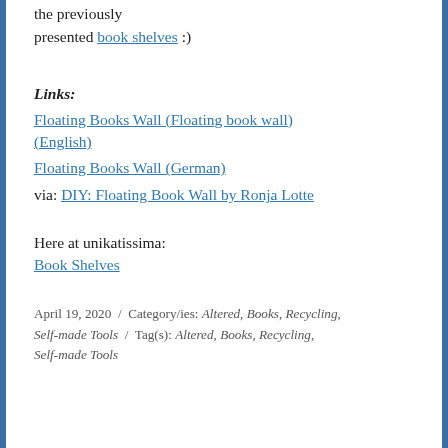the previously presented book shelves :)
Links:
Floating Books Wall (Floating book wall) (English)
Floating Books Wall (German)
via: DIY: Floating Book Wall by Ronja Lotte
Here at unikatissima:
Book Shelves
April 19, 2020 / Category/ies: Altered, Books, Recycling, Self-made Tools / Tag(s): Altered, Books, Recycling, Self-made Tools